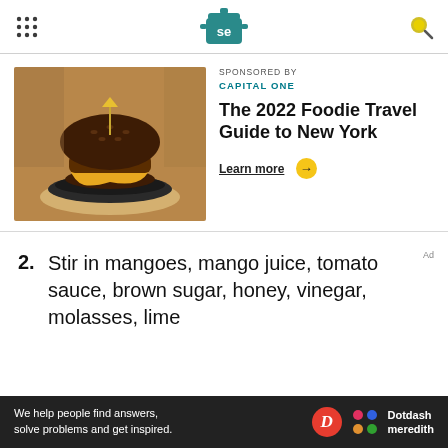Serious Eats logo header with navigation dots and search icon
[Figure (photo): Sponsored advertisement banner featuring a burger with melted cheese on a dark plate, from the 2022 Foodie Travel Guide to New York, sponsored by Capital One with a Learn more button]
2. Stir in mangoes, mango juice, tomato sauce, brown sugar, honey, vinegar, molasses, lime
We help people find answers, solve problems and get inspired. Dotdash Meredith